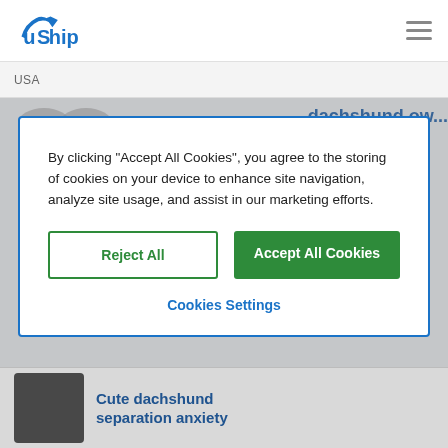[Figure (logo): uShip logo with blue arrow icon and stylized text]
USA
[Figure (screenshot): Background website content partially visible behind cookie modal, showing gray silhouette icons and partial blue link text 'dachshund...']
By clicking “Accept All Cookies”, you agree to the storing of cookies on your device to enhance site navigation, analyze site usage, and assist in our marketing efforts.
Reject All
Accept All Cookies
Cookies Settings
[Figure (photo): Small thumbnail of a dachshund dog, partially visible at bottom left]
Cute dachshund separation anxiety